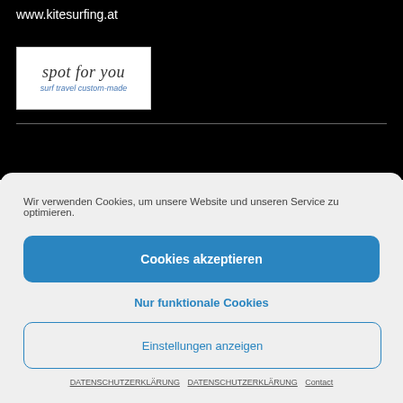www.kitesurfing.at
[Figure (logo): spot for you — surf travel custom-made logo, white background with italic handwritten-style text]
Wir verwenden Cookies, um unsere Website und unseren Service zu optimieren.
Cookies akzeptieren
Nur funktionale Cookies
Einstellungen anzeigen
DATENSCHUTZERKLÄRUNG   DATENSCHUTZERKLÄRUNG   Contact